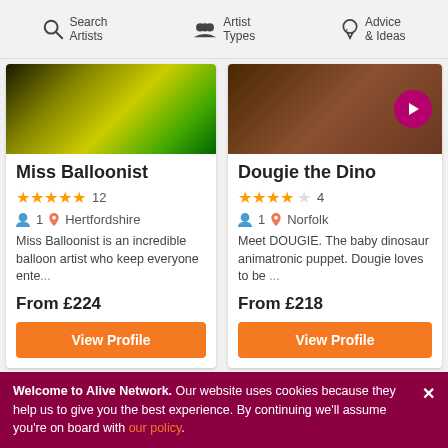Search Artists | Artist Types | Advice & Ideas
[Figure (screenshot): Miss Balloonist card thumbnail with balloon art on yellow background]
Miss Balloonist
★★★★★ 12
1  Hertfordshire
Miss Balloonist is an incredible balloon artist who keep everyone ente...
From £224
View Profile
[Figure (screenshot): Dougie the Dino card thumbnail with brick wall background and play button overlay]
Dougie the Dino
★★★★★ 4
1  Norfolk
Meet DOUGIE. The baby dinosaur animatronic puppet. Dougie loves to be ...
From £218
View Profile
[Figure (photo): Bottom left dark photo with circular light effects]
[Figure (photo): Bottom right dark photo with fire performer]
Welcome to Alive Network. Our website uses cookies because they help us to give you the best experience. By continuing we'll assume you're on board with our policy.